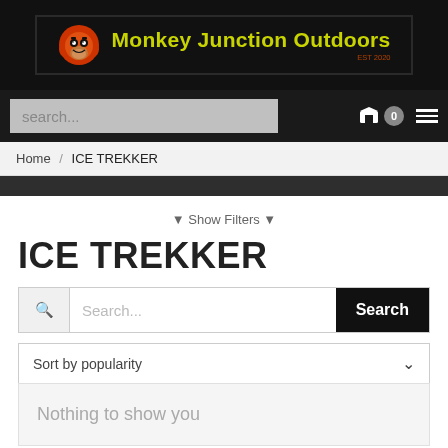[Figure (logo): Monkey Junction Outdoors logo with monkey icon in red/orange and text in yellow-green on black background, EST 2020]
search... [cart icon] 0 [menu icon]
Home / ICE TREKKER
▼ Show Filters ▼
ICE TREKKER
🔍 Search... Search
Sort by popularity ∨
Nothing to show you